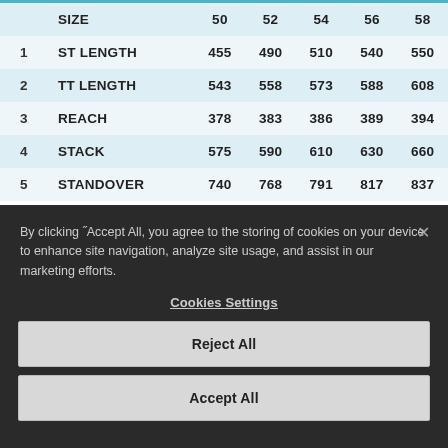|  | SIZE | 50 | 52 | 54 | 56 | 58 |
| --- | --- | --- | --- | --- | --- | --- |
| 1 | ST LENGTH | 455 | 490 | 510 | 540 | 550 |
| 2 | TT LENGTH | 543 | 558 | 573 | 588 | 608 |
| 3 | REACH | 378 | 383 | 386 | 389 | 394 |
| 4 | STACK | 575 | 590 | 610 | 630 | 660 |
| 5 | STANDOVER | 740 | 768 | 791 | 817 | 837 |
By clicking "Accept All, you agree to the storing of cookies on your device to enhance site navigation, analyze site usage, and assist in our marketing efforts.
Cookies Settings
Reject All
Accept All